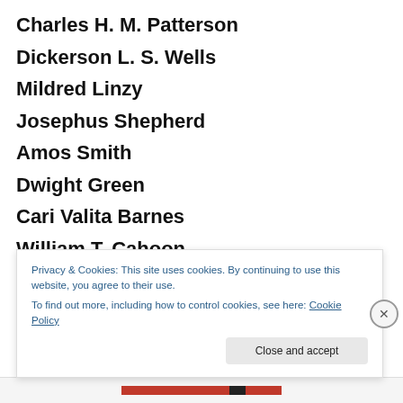Charles H. M. Patterson
Dickerson L. S. Wells
Mildred Linzy
Josephus Shepherd
Amos Smith
Dwight Green
Cari Valita Barnes
William T. Cahoon
Dwight Walls
Georgia M. Lowe
Joseph Chase
Privacy & Cookies: This site uses cookies. By continuing to use this website, you agree to their use.
To find out more, including how to control cookies, see here: Cookie Policy